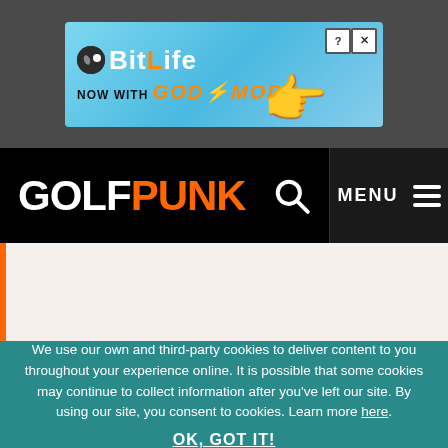[Figure (screenshot): BitLife advertisement banner: 'NOW WITH GOD MODE' on a light blue background with a cartoon pointing hand]
GOLFPUNK — navigation bar with search icon and MENU button
We use our own and third-party cookies to deliver content to you throughout your experience online. It is possible that some cookies may continue to collect information after you've left our site. By using our site, you consent to cookies. Learn more here.
OK, GOT IT!